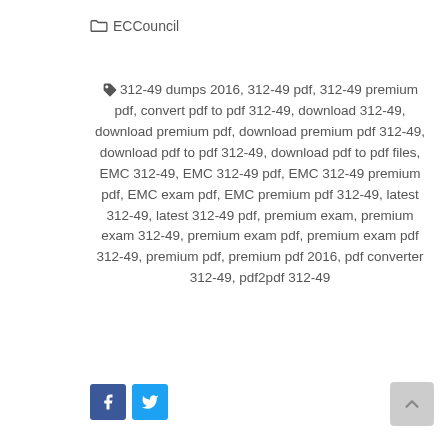ECCouncil
312-49 dumps 2016, 312-49 pdf, 312-49 premium pdf, convert pdf to pdf 312-49, download 312-49, download premium pdf, download premium pdf 312-49, download pdf to pdf 312-49, download pdf to pdf files, EMC 312-49, EMC 312-49 pdf, EMC 312-49 premium pdf, EMC exam pdf, EMC premium pdf 312-49, latest 312-49, latest 312-49 pdf, premium exam, premium exam 312-49, premium exam pdf, premium exam pdf 312-49, premium pdf, premium pdf 2016, pdf converter 312-49, pdf2pdf 312-49